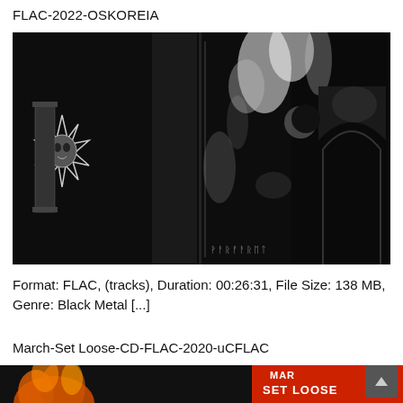FLAC-2022-OSKOREIA
[Figure (photo): Black and white album artwork/cassette cover for a black metal release. Gothic lettering visible reading 'Rehearsal 2' along with imagery of dark figures and a sun/crescent moon symbol on the left panel.]
Format: FLAC, (tracks), Duration: 00:26:31, File Size: 138 MB, Genre: Black Metal [...]
March-Set Loose-CD-FLAC-2020-uCFLAC
[Figure (photo): Partial album cover image showing fire/flame imagery on left and 'SET LOOSE' text visible on orange/red background on the right, partially cut off at bottom of page.]